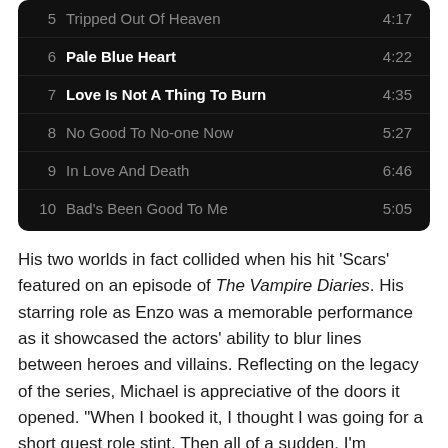| # | Title | Duration |
| --- | --- | --- |
| 5 | Tripped Out Of Heaven | 4:17 |
| 6 | Pale Blue Heart | 4:22 |
| 7 | Love Is Not A Thing To Burn | 4:35 |
| 8 | No Good To No-one Now | 5:27 |
| 9 | In Love And Death | 6:46 |
| 10 | Bad's Been Good To Me | 5:05 |
His two worlds in fact collided when his hit 'Scars' featured on an episode of The Vampire Diaries. His starring role as Enzo was a memorable performance as it showcased the actors' ability to blur lines between heroes and villains. Reflecting on the legacy of the series, Michael is appreciative of the doors it opened. "When I booked it, I thought I was going for a short guest role stint. Then all of a sudden, I'm wrapped up in this entire universe. I'll always be grateful."